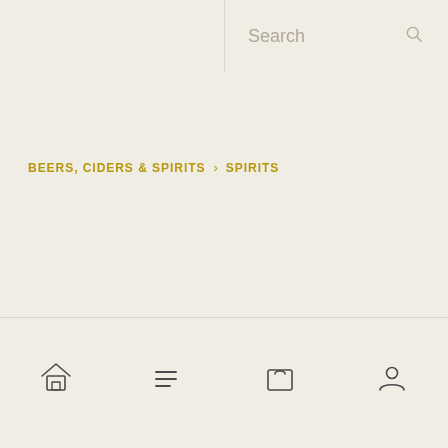Search
BEERS, CIDERS & SPIRITS › SPIRITS
Home | Menu | Bag | Account